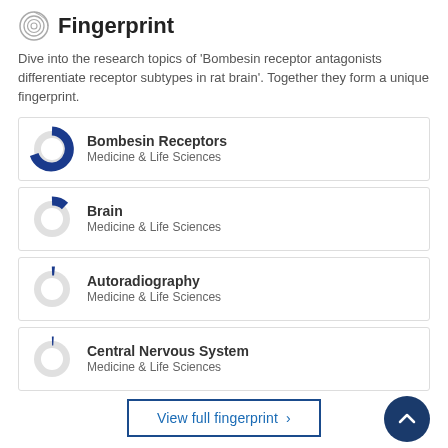Fingerprint
Dive into the research topics of 'Bombesin receptor antagonists differentiate receptor subtypes in rat brain'. Together they form a unique fingerprint.
Bombesin Receptors
Medicine & Life Sciences
Brain
Medicine & Life Sciences
Autoradiography
Medicine & Life Sciences
Central Nervous System
Medicine & Life Sciences
View full fingerprint ›